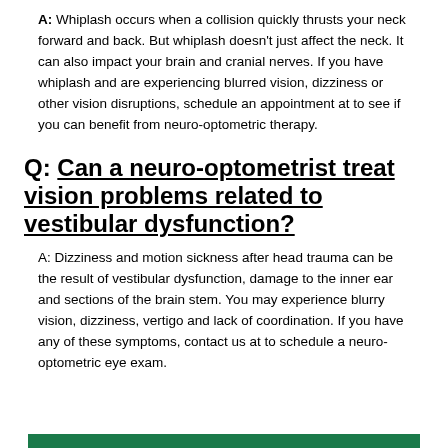A: Whiplash occurs when a collision quickly thrusts your neck forward and back. But whiplash doesn't just affect the neck. It can also impact your brain and cranial nerves. If you have whiplash and are experiencing blurred vision, dizziness or other vision disruptions, schedule an appointment at to see if you can benefit from neuro-optometric therapy.
Q: Can a neuro-optometrist treat vision problems related to vestibular dysfunction?
A: Dizziness and motion sickness after head trauma can be the result of vestibular dysfunction, damage to the inner ear and sections of the brain stem. You may experience blurry vision, dizziness, vertigo and lack of coordination. If you have any of these symptoms, contact us at to schedule a neuro-optometric eye exam.